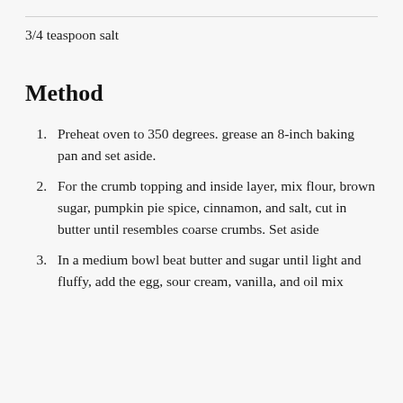3/4 teaspoon salt
Method
Preheat oven to 350 degrees. grease an 8-inch baking pan and set aside.
For the crumb topping and inside layer, mix flour, brown sugar, pumpkin pie spice, cinnamon, and salt, cut in butter until resembles coarse crumbs. Set aside
In a medium bowl beat butter and sugar until light and fluffy, add the egg, sour cream, vanilla, and oil mix